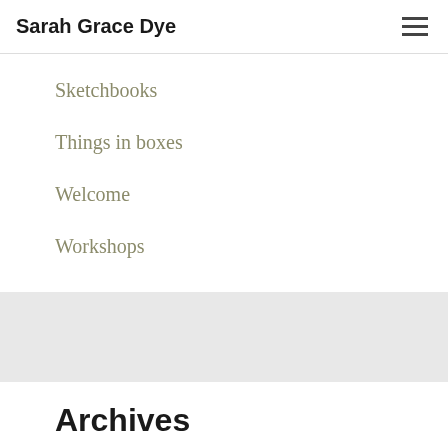Sarah Grace Dye
Sketchbooks
Things in boxes
Welcome
Workshops
Archives
July 2021
June 2021
February 2021